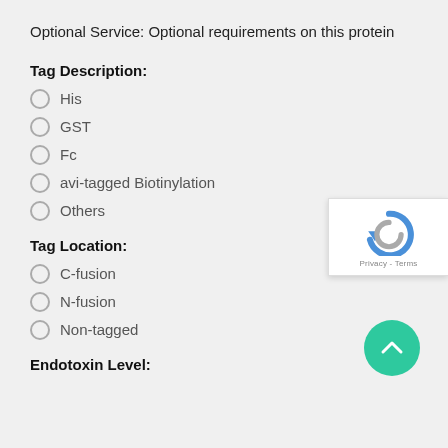Optional Service: Optional requirements on this protein
Tag Description:
His
GST
Fc
avi-tagged Biotinylation
Others
Tag Location:
C-fusion
N-fusion
Non-tagged
Endotoxin Level: